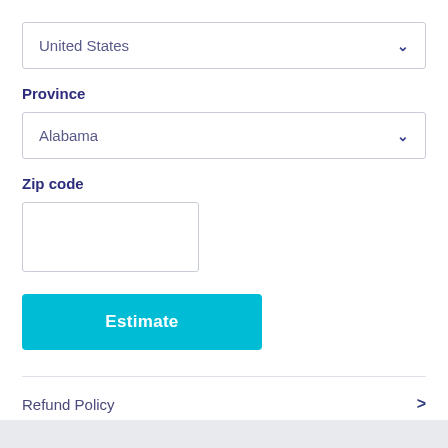United States
Province
Alabama
Zip code
Estimate
Refund Policy